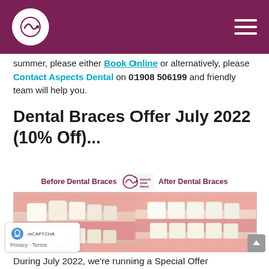Aspects Dental - header with logo and navigation menu
summer, please either Book Online or alternatively, please Contact Aspects Dental on 01908 506199 and friendly team will help you.
Dental Braces Offer July 2022 (10% Off)...
[Figure (photo): Before and after dental braces comparison image showing teeth. Left side: before dental braces with misaligned teeth. Right side: after dental braces with straightened teeth. Label between shows 'Before Dental Braces | Aspects Dental logo | After Dental Braces' in purple.]
During July 2022, we're running a Special Offer